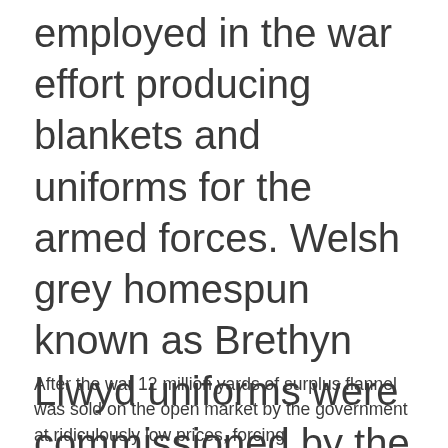employed in the war effort producing blankets and uniforms for the armed forces. Welsh grey homespun known as Brethyn Llwyd uniforms were commissioned by the War Office to give a nationalistic distinction to the new recruits of the new Welsh Army Corps formed during the war.
After the war 12 million yards of surplus flannel was sold on the open market by the government at ridiculously low prices, forcing